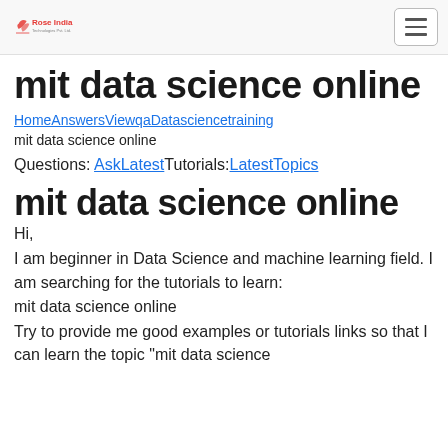Rose India [logo] [hamburger menu]
mit data science online
HomeAnswersViewqaDatasciencetraining mit data science online
Questions: AskLatestTutorials:LatestTopics
mit data science online
Hi,
I am beginner in Data Science and machine learning field. I am searching for the tutorials to learn:
mit data science online
Try to provide me good examples or tutorials links so that I can learn the topic "mit data science